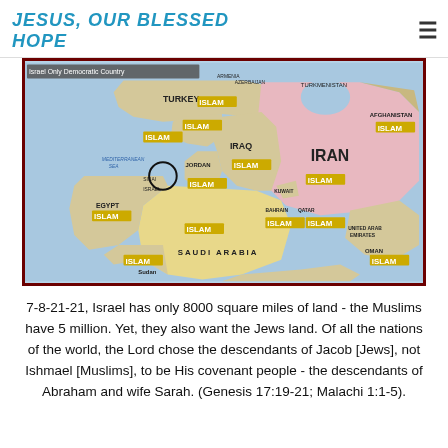JESUS, OUR BLESSED HOPE
[Figure (map): Map of the Middle East showing countries labeled with yellow 'ISLAM' tags including Turkey, Syria, Lebanon, Iraq, Iran, Jordan, Egypt, Sudan, Saudi Arabia, Bahrain, Qatar, UAE, Oman, Afghanistan. Israel is circled. Text overlay: 'Israel Only Democratic Country'.]
7-8-21-21, Israel has only 8000 square miles of land - the Muslims have 5 million. Yet, they also want the Jews land. Of all the nations of the world, the Lord chose the descendants of Jacob [Jews], not Ishmael [Muslims], to be His covenant people - the descendants of Abraham and wife Sarah. (Genesis 17:19-21; Malachi 1:1-5).